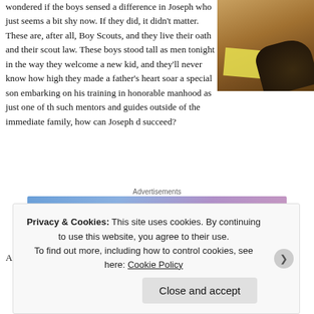wondered if the boys sensed a difference in Joseph who just seems a bit shy now. If they did, it didn't matter. These are, after all, Boy Scouts, and they live their oath and their scout law. These boys stood tall as men tonight in the way they welcomed a new kid, and they'll never know how high they made a father's heart soar as special son embarking on his training in honorable manhood as just one of the such mentors and guides outside of the immediate family, how can Joseph do succeed?
[Figure (photo): Photo showing a shoe, papers/note on a wooden floor surface]
Advertisements
[Figure (other): WordPress.com advertisement banner: Simplified pricing for everything you need.]
REPORT THIS AD
And that is the good news, the message of hope that we need to trumpet in ou
Privacy & Cookies: This site uses cookies. By continuing to use this website, you agree to their use.
To find out more, including how to control cookies, see here: Cookie Policy
Close and accept